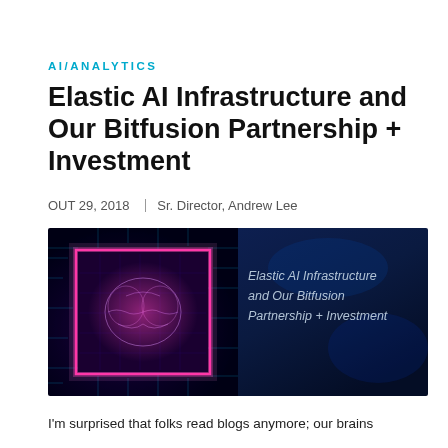AI/Analytics
Elastic AI Infrastructure and Our Bitfusion Partnership + Investment
OUT 29, 2018  |  Sr. Director, Andrew Lee
[Figure (photo): Banner image showing a glowing AI chip on a circuit board with pink/magenta neon glow on the left side, and the article title text in italic white on a dark blue background on the right side. Text reads: Elastic AI Infrastructure and Our Bitfusion Partnership + Investment]
I'm surprised that folks read blogs anymore; our brains